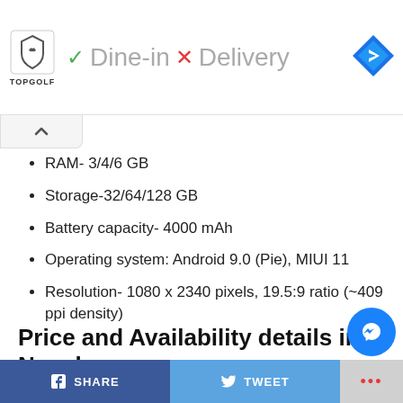[Figure (screenshot): Advertisement banner for Topgolf showing Dine-in (checkmark) and Delivery (X) options with navigation icon]
RAM- 3/4/6 GB
Storage-32/64/128 GB
Battery capacity- 4000 mAh
Operating system: Android 9.0 (Pie), MIUI 11
Resolution- 1080 x 2340 pixels, 19.5:9 ratio (~409 ppi density)
Price and Availability details in Nepal
SHARE   TWEET   ...